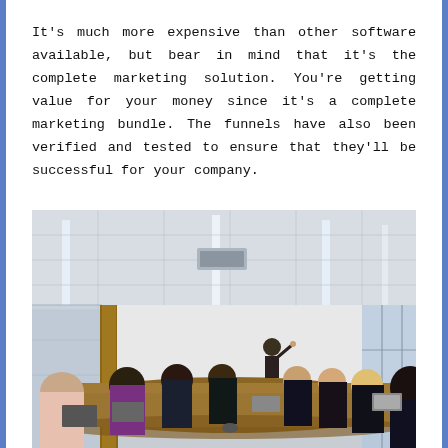It's much more expensive than other software available, but bear in mind that it's the complete marketing solution. You're getting value for your money since it's a complete marketing bundle. The funnels have also been verified and tested to ensure that they'll be successful for your company.
[Figure (photo): A conference room meeting scene with people seated around a long wooden table. A presenter is standing at the front pointing at a wall. The room has a drop ceiling with LED lighting strips, a glass wall on the left, and large windows on the right.]